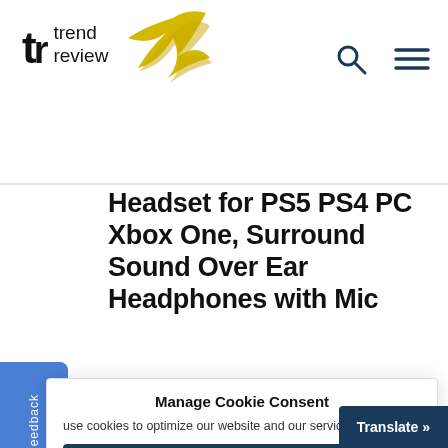trend review
Headset for PS5 PS4 PC Xbox One, Surround Sound Over Ear Headphones with Mic
Manage Cookie Consent
use cookies to optimize our website and our service.
Accept all
Deny
Settings
Translate »